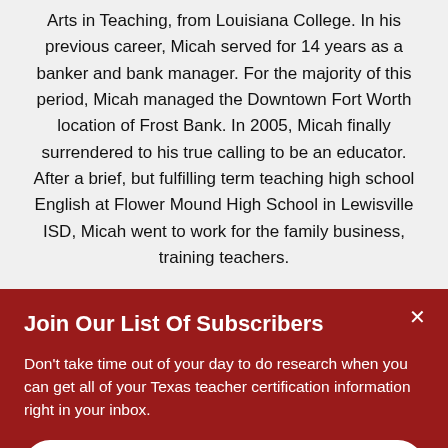Arts in Teaching, from Louisiana College. In his previous career, Micah served for 14 years as a banker and bank manager. For the majority of this period, Micah managed the Downtown Fort Worth location of Frost Bank. In 2005, Micah finally surrendered to his true calling to be an educator. After a brief, but fulfilling term teaching high school English at Flower Mound High School in Lewisville ISD, Micah went to work for the family business, training teachers.
Join Our List Of Subscribers
Don't take time out of your day to do research when you can get all of your Texas teacher certification information right in your inbox.
Subscribe now